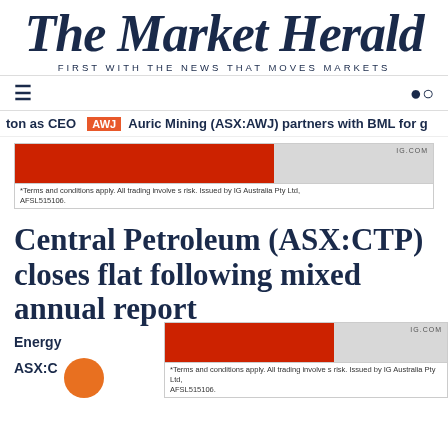The Market Herald — FIRST WITH THE NEWS THAT MOVES MARKETS
[Figure (logo): The Market Herald masthead logo in dark navy serif italic font with tagline 'FIRST WITH THE NEWS THAT MOVES MARKETS']
[Figure (infographic): Advertisement banner: red and grey sections with IG.COM label. Terms and conditions apply. All trading involves risk. Issued by IG Australia Pty Ltd, AFSL515106.]
Central Petroleum (ASX:CTP) closes flat following mixed annual report
Energy
ASX:C
[Figure (infographic): Second advertisement banner: red and grey sections with IG.COM label. Terms and conditions apply. All trading involves risk. Issued by IG Australia Pty Ltd, AFSL515106.]